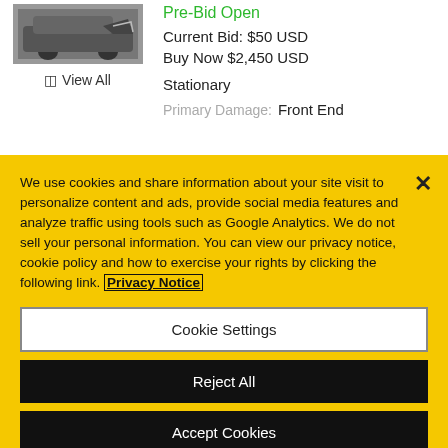[Figure (photo): Damaged car photo thumbnail showing front-end collision damage]
View All
Pre-Bid Open
Current Bid: $50 USD
Buy Now $2,450 USD
Stationary
Primary Damage: Front End
We use cookies and share information about your site visit to personalize content and ads, provide social media features and analyze traffic using tools such as Google Analytics. We do not sell your personal information. You can view our privacy notice, cookie policy and how to exercise your rights by clicking the following link. Privacy Notice
Cookie Settings
Reject All
Accept Cookies